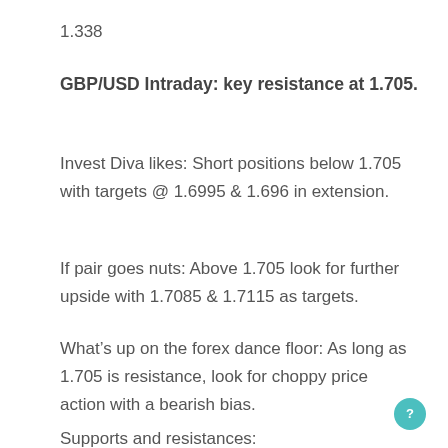1.338
GBP/USD Intraday: key resistance at 1.705.
Invest Diva likes: Short positions below 1.705 with targets @ 1.6995 & 1.696 in extension.
If pair goes nuts: Above 1.705 look for further upside with 1.7085 & 1.7115 as targets.
What’s up on the forex dance floor: As long as 1.705 is resistance, look for choppy price action with a bearish bias.
Supports and resistances: